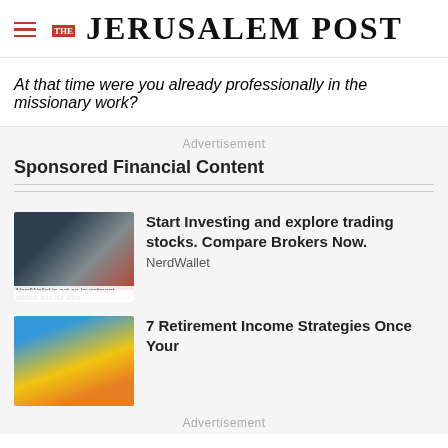THE JERUSALEM POST
At that time were you already professionally in the missionary work?
Advertisement
Sponsored Financial Content
[Figure (photo): Two people looking at a computer screen with stock trading charts]
Start Investing and explore trading stocks. Compare Brokers Now.
NerdWallet
[Figure (photo): Person wearing sunglasses outdoors with colorful background]
7 Retirement Income Strategies Once Your
Advertisement